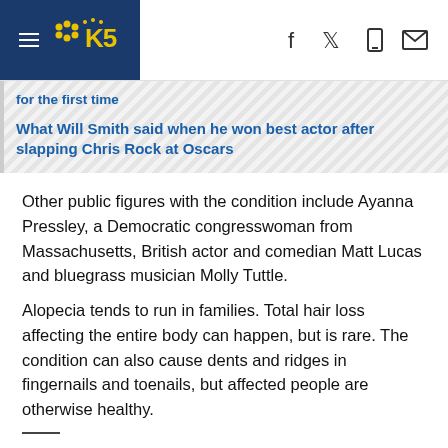KING 5 News - NBC Seattle
[Figure (screenshot): Related stories sidebar with two blue hyperlinks: 'for the first time' and 'What Will Smith said when he won best actor after slapping Chris Rock at Oscars']
Other public figures with the condition include Ayanna Pressley, a Democratic congresswoman from Massachusetts, British actor and comedian Matt Lucas and bluegrass musician Molly Tuttle.
Alopecia tends to run in families. Total hair loss affecting the entire body can happen, but is rare. The condition can also cause dents and ridges in fingernails and toenails, but affected people are otherwise healthy.
The Associated Press Health and Science Department receives support from the Howard Hughes Medical